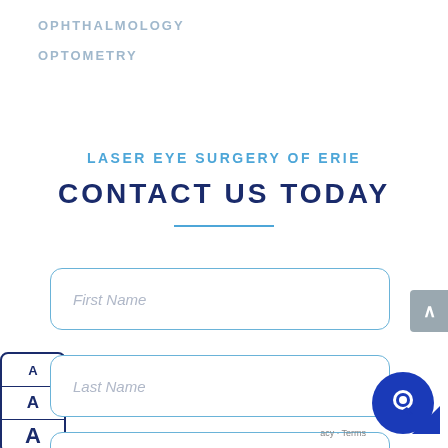OPHTHALMOLOGY
OPTOMETRY
LASER EYE SURGERY OF ERIE
CONTACT US TODAY
First Name
Last Name